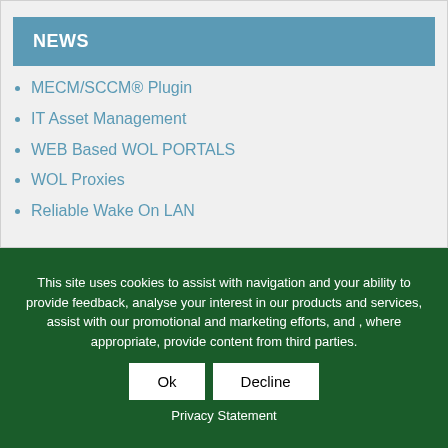NEWS
MECM/SCCM® Plugin
IT Asset Management
WEB Based WOL PORTALS
WOL Proxies
Reliable Wake On LAN
This site uses cookies to assist with navigation and your ability to provide feedback, analyse your interest in our products and services, assist with our promotional and marketing efforts, and , where appropriate, provide content from third parties.
Ok   Decline
Privacy Statement